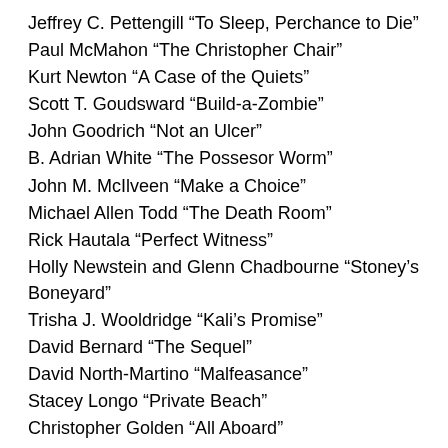Jeffrey C. Pettengill “To Sleep, Perchance to Die”
Paul McMahon “The Christopher Chair”
Kurt Newton “A Case of the Quiets”
Scott T. Goudsward “Build-a-Zombie”
John Goodrich “Not an Ulcer”
B. Adrian White “The Possesor Worm”
John M. McIlveen “Make a Choice”
Michael Allen Todd “The Death Room”
Rick Hautala “Perfect Witness”
Holly Newstein and Glenn Chadbourne “Stoney’s Boneyard”
Trisha J. Wooldridge “Kali’s Promise”
David Bernard “The Sequel”
David North-Martino “Malfeasance”
Stacey Longo “Private Beach”
Christopher Golden “All Aboard”